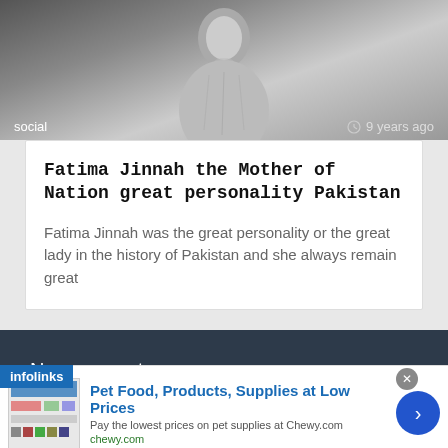[Figure (photo): Black and white photograph of a person (Fatima Jinnah), with 'social' label on the bottom left and '9 years ago' timestamp on the bottom right]
Fatima Jinnah the Mother of Nation great personality Pakistan
Fatima Jinnah was the great personality or the great lady in the history of Pakistan and she always remain great
No comments
[Figure (screenshot): Infolinks advertisement banner for Chewy.com pet supplies with blue arrow button]